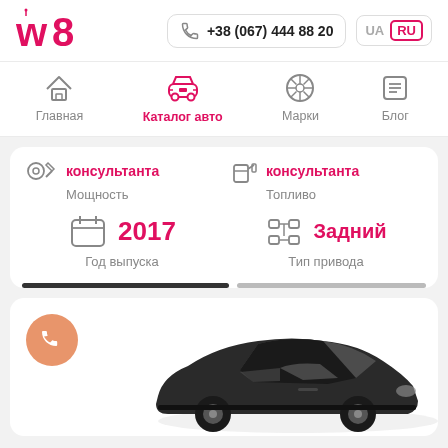[Figure (logo): w8 logo in red/pink]
+38 (067) 444 88 20
UA  RU
[Figure (screenshot): Navigation bar with icons: Главная, Каталог авто (active), Марки, Блог]
консультанта
Мощность
консультанта
Топливо
2017
Год выпуска
Задний
Тип привода
[Figure (photo): Dark colored car (hatchback) viewed from front-left angle]